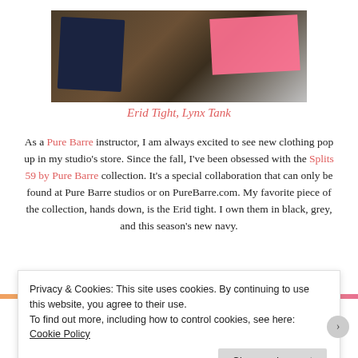[Figure (photo): Photo of navy tight and pink tank top lying on a wooden surface]
Erid Tight, Lynx Tank
As a Pure Barre instructor, I am always excited to see new clothing pop up in my studio’s store. Since the fall, I’ve been obsessed with the Splits 59 by Pure Barre collection. It’s a special collaboration that can only be found at Pure Barre studios or on PureBarre.com. My favorite piece of the collection, hands down, is the Erid tight. I own them in black, grey, and this season’s new navy.
Privacy & Cookies: This site uses cookies. By continuing to use this website, you agree to their use.
To find out more, including how to control cookies, see here: Cookie Policy